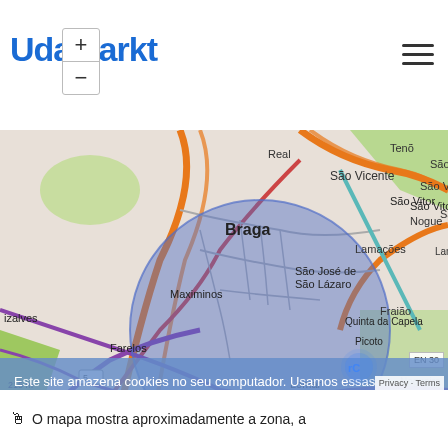UdaMarkt
[Figure (map): OpenStreetMap showing Braga, Portugal area with a blue circular radius overlay centered on the city. Visible neighborhoods: Real, São Vicente, São Vitor, Braga, São José de São Lázaro, Maximinos, Quinta da Capela, Fraião, Picoto, Lomar, Nogueira, Arcos, Tenões, Nogueira. Roads and streets visible. Scale bar showing 215m.]
Este site amazena cookies no seu computador. Usamos essas informações para melhorar e personalizar a experiência de navegação, para análise e para obter métricas sobre os nossos visitantes. Para mais informações, consulte a nossa política de cookies. Mais informação
Aceitar
🖱 O mapa mostra aproximadamente a zona, a